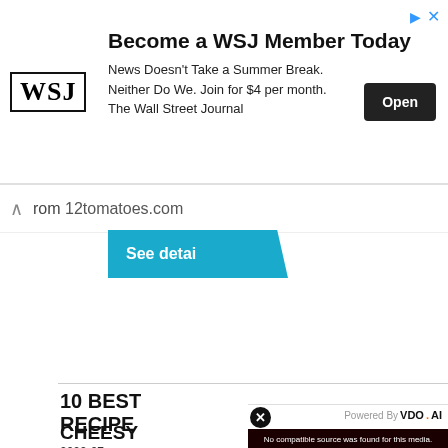[Figure (screenshot): WSJ advertisement banner: 'Become a WSJ Member Today. News Doesn't Take a Summer Break. Neither Do We. Join for $4 per month. The Wall Street Journal.' with WSJ logo and 'Open' button.]
from 12tomatoes.com
See detai
10 BEST RECIPE
2022-07- powder, more
From yu
See d
[Figure (screenshot): Video overlay showing 'No compatible source was found for this media.' over a dark background with 'IMMUNE X SYSTEM HOW IT ACTUALLY WORKS' text. Powered by VDO.AI label in top right. Close (x) button top left.]
CHEESY